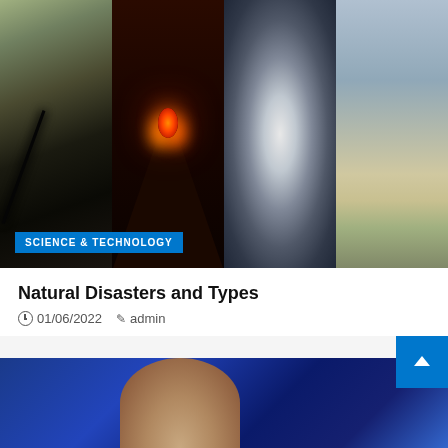[Figure (photo): Composite hero image showing four natural disasters side by side: earthquake ground crack (left), erupting volcano with lava (second), hurricane eye view from above (third), tornado over a road (right). A blue badge reading 'SCIENCE & TECHNOLOGY' is overlaid at the bottom left.]
Natural Disasters and Types
01/06/2022  admin
[Figure (photo): Partial bottom image showing a person with blue hair/lighting visible from chin down, against a blue background — partially cropped.]